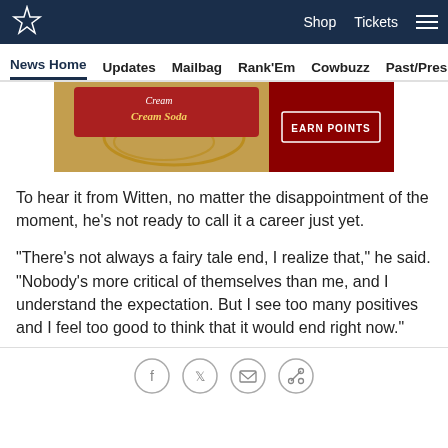Shop  Tickets
News Home  Updates  Mailbag  Rank'Em  Cowbuzz  Past/Pres
[Figure (photo): Advertisement image showing a cream soda can with 'EARN POINTS' button on dark red background]
To hear it from Witten, no matter the disappointment of the moment, he's not ready to call it a career just yet.
"There's not always a fairy tale end, I realize that," he said. "Nobody's more critical of themselves than me, and I understand the expectation. But I see too many positives and I feel too good to think that it would end right now."
[Figure (infographic): Social sharing icons: Facebook, Twitter, Email, Link]